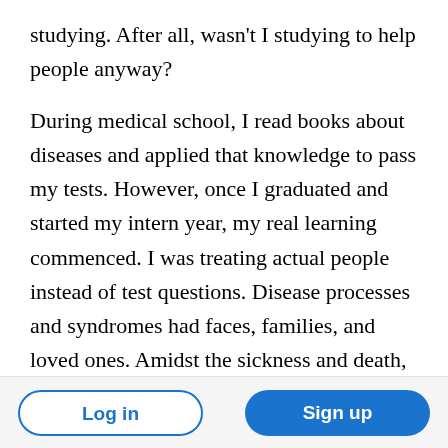studying. After all, wasn't I studying to help people anyway?
During medical school, I read books about diseases and applied that knowledge to pass my tests. However, once I graduated and started my intern year, my real learning commenced. I was treating actual people instead of test questions. Disease processes and syndromes had faces, families, and loved ones. Amidst the sickness and death, I began to learn what it meant to "do for others" in our profession. Experience is always the best teacher.
Log in | Sign up